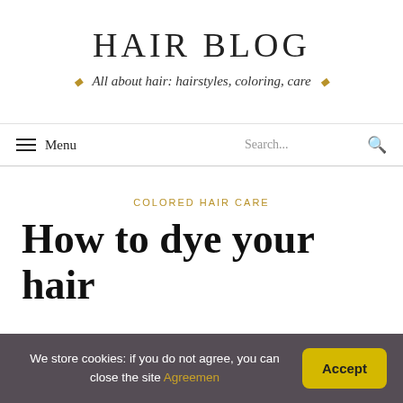HAIR BLOG
All about hair: hairstyles, coloring, care
Menu  Search...
COLORED HAIR CARE
How to dye your hair
We store cookies: if you do not agree, you can close the site Agreement